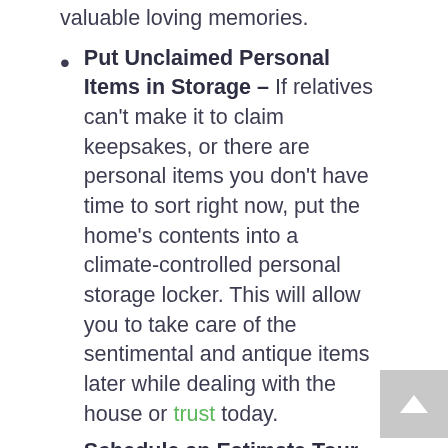valuable loving memories.
Put Unclaimed Personal Items in Storage – If relatives can't make it to claim keepsakes, or there are personal items you don't have time to sort right now, put the home's contents into a climate-controlled personal storage locker. This will allow you to take care of the sentimental and antique items later while dealing with the house or trust today.
Schedule an Estimate Tour – Once the house is empty of all important items, you can call and schedule an estimate with your